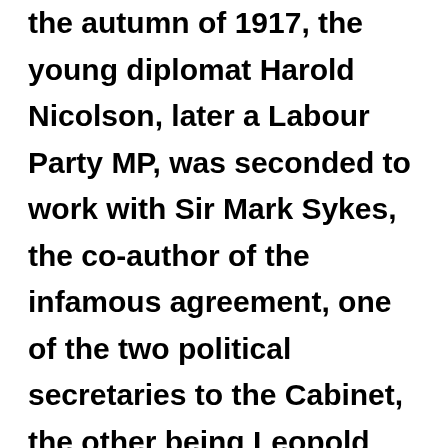the autumn of 1917, the young diplomat Harold Nicolson, later a Labour Party MP, was seconded to work with Sir Mark Sykes, the co-author of the infamous agreement, one of the two political secretaries to the Cabinet, the other being Leopold Amery. Sykes acted as the main channel of communication between the Cabinet and the Zionist movement. He had been negotiating with both Chaim